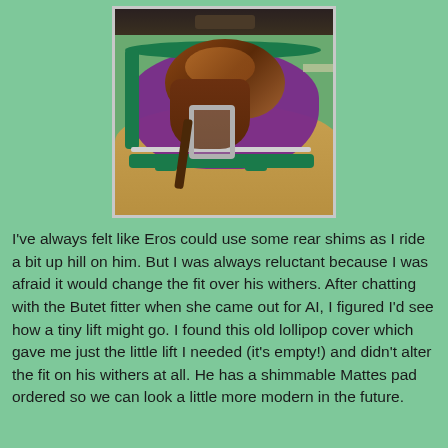[Figure (photo): A brown leather English saddle with a purple quilted saddle pad trimmed in green, placed on a palomino/golden horse's back. A stirrup iron is visible. Background shows green trees and fence.]
I've always felt like Eros could use some rear shims as I ride a bit up hill on him. But I was always reluctant because I was afraid it would change the fit over his withers. After chatting with the Butet fitter when she came out for AI, I figured I'd see how a tiny lift might go. I found this old lollipop cover which gave me just the little lift I needed (it's empty!) and didn't alter the fit on his withers at all. He has a shimmable Mattes pad ordered so we can look a little more modern in the future.